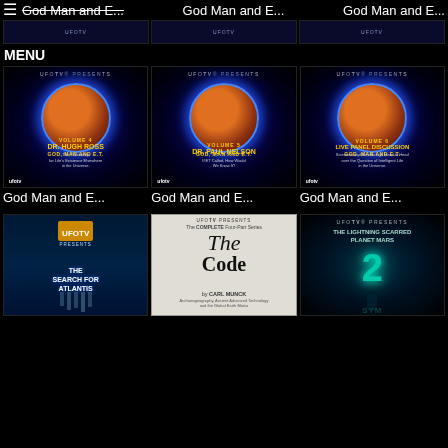[Figure (screenshot): UFOTV top bar with hamburger menu and three thumbnail items labeled 'God Man and E...' each showing a small UFOTV video thumbnail]
MENU
[Figure (photo): God Man and ET Volume 4 - Dr. Hugh Ross DVD cover, UFOTV Presents, showing planet with alien figure, blue glow]
[Figure (photo): God Man and ET Volume 5 - Dr. Paul Nelson DVD cover, UFOTV Presents]
[Figure (photo): God Man and ET Volume 6 - Live Panel Discussion DVD cover, UFOTV Presents]
God Man and E...
God Man and E...
God Man and E...
[Figure (photo): UFOTV Presents: The Search for Atlantis cover, blue underwater temple imagery]
[Figure (photo): The Code by Carl Munck - The Complete Four-Part Series, black and white cover]
[Figure (photo): UFOTV Presents: The Lightning Scarred Planet Mars 2 cover, teal/dark blue imagery]